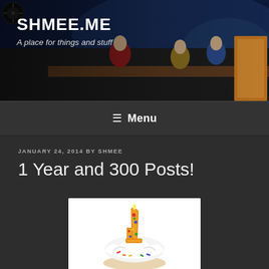SHMEE.ME — A place for things and stuff
≡ Menu
JANUARY 24, 2014 BY SHMEE
1 Year and 300 Posts!
[Figure (photo): A cupcake with white frosting topped with a number '1' birthday candle decorated with colorful polka dots, on a white background.]